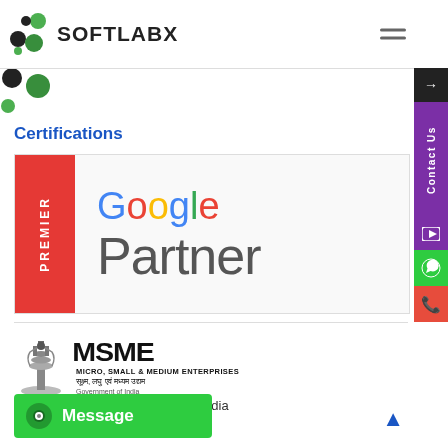[Figure (logo): Softlabx logo with green and black icon and bold text SOFTLABX]
[Figure (logo): Google Premier Partner badge with red Premier sidebar and Google Partner text]
Certifications
[Figure (logo): MSME - Micro, Small & Medium Enterprises logo with Ashoka Pillar emblem, Government of India]
of India
[Figure (other): Message button (green) and Contact Us sidebar (purple), WhatsApp (green), Phone (red) sidebar elements]